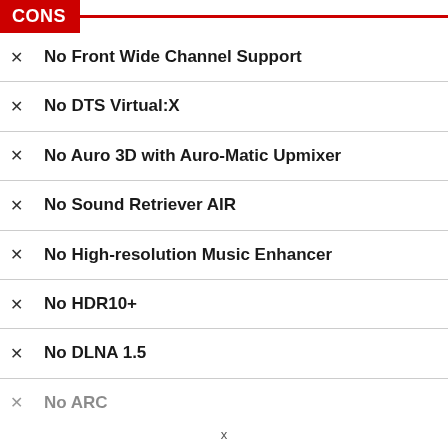CONS
No Front Wide Channel Support
No DTS Virtual:X
No Auro 3D with Auro-Matic Upmixer
No Sound Retriever AIR
No High-resolution Music Enhancer
No HDR10+
No DLNA 1.5
No ARC (partial, cut off)